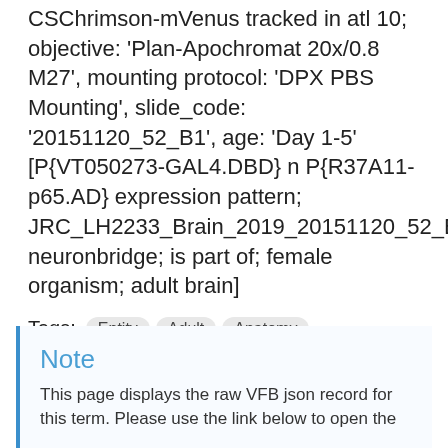CSChrimson-mVenus tracked in atl 10; objective: 'Plan-Apochromat 20x/0.8 M27', mounting protocol: 'DPX PBS Mounting', slide_code: '20151120_52_B1', age: 'Day 1-5' [P{VT050273-GAL4.DBD} n P{R37A11-p65.AD} expression pattern; JRC_LH2233_Brain_2019_20151120_52_B1_20x; neuronbridge; is part of; female organism; adult brain]
Tags: Entity Adult Anatomy Expression_pattern Individual Nervous_system Split VFB
Note
This page displays the raw VFB json record for this term. Please use the link below to open the